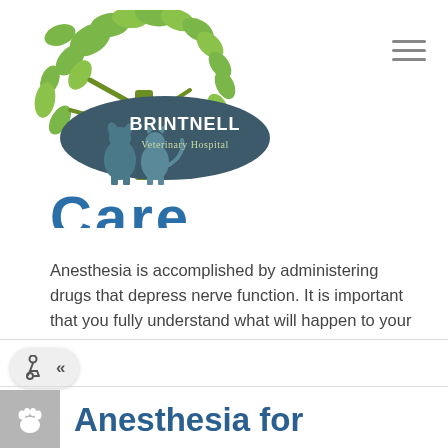[Figure (logo): Brintnell Veterinary Hospital logo with tree and animals]
Care (partially visible, cut off at top)
Anesthesia is accomplished by administering drugs that depress nerve function. It is important that you fully understand what will happen to your pet, and that you acknowledge that you understand the risks. Anesthetic monitoring in a veterinary hospital is similar to that found in any human hospital. With today's anesthetics, many of which are reversible, your pet should be almost completely normal by the time of discharge.
Anesthesia for